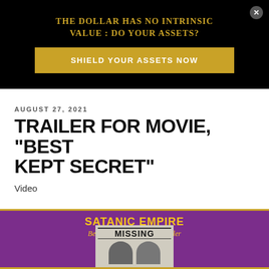[Figure (infographic): Black advertisement banner with gold text 'THE DOLLAR HAS NO INTRINSIC VALUE : DO YOUR ASSETS?' and gold button 'SHIELD YOUR ASSETS NOW', close X button in top right]
AUGUST 27, 2021
TRAILER FOR MOVIE, “BEST KEPT SECRET”
Video
[Figure (screenshot): Video thumbnail with purple background, gold border, text 'SATANIC EMPIRE Best Kept Secret Official Trailer', and a missing persons milk carton image showing two children]